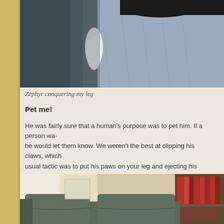[Figure (photo): Close-up photo of a dark cat lying on a person's leg covered with light blue denim fabric, on a textured carpet background]
Zephyr conquering my leg
Pet me!
He was fairly sure that a human's purpose was to pet him. If a person wa- he would let them know. We weren't the best at clipping his claws, which usual tactic was to put his paws on your leg and ejecting his sharp claws wasn't just Andrew and me who were object of his demands, but anyone
[Figure (photo): Photo of a green/grey couch with bookshelves filled with books visible in the background, indoor living room setting]